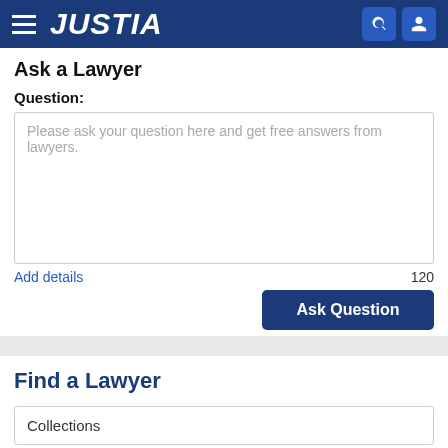JUSTIA
Ask a Lawyer
Question:
Please ask your question here and get free answers from lawyers.
Add details
120
Ask Question
Find a Lawyer
Collections
Illinois
Search